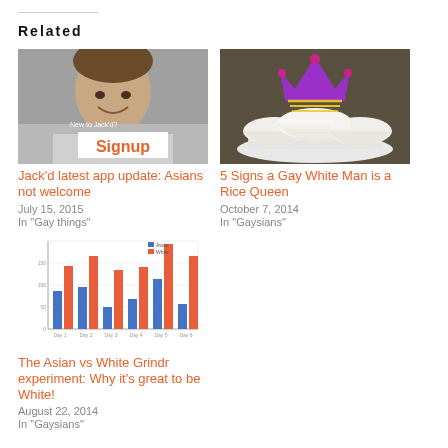Related
[Figure (photo): Photo of a smiling man with a 'Signup' overlay box and text 'New to Jack'd?']
Jack'd latest app update: Asians not welcome
July 15, 2015
In "Gay things"
[Figure (photo): Photo of rice bowls with a purple crown graphic overlay]
5 Signs a Gay White Man is a Rice Queen
October 7, 2014
In "Gaysians"
[Figure (grouped-bar-chart): Grouped bar chart comparing Asian (blue) vs White (red/orange) data across multiple days (Day 1 through Day 6)]
The Asian vs White Grindr experiment: Why it's great to be White!
August 22, 2014
In "Gaysians"